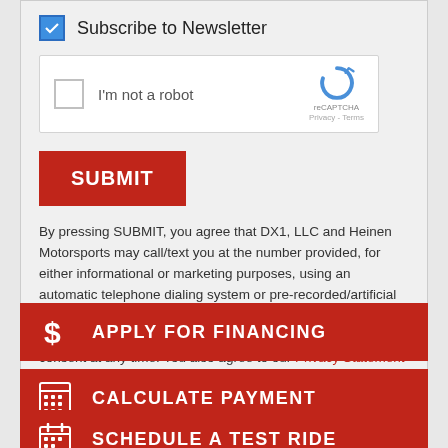Subscribe to Newsletter
[Figure (screenshot): reCAPTCHA widget with checkbox, 'I'm not a robot' label, and reCAPTCHA logo with Privacy and Terms links]
SUBMIT
By pressing SUBMIT, you agree that DX1, LLC and Heinen Motorsports may call/text you at the number provided, for either informational or marketing purposes, using an automatic telephone dialing system or pre-recorded/artificial voices. Msg/data rates may apply. You don't need to consent as a condition of any purchase & you may revoke your consent at any time. You also agree to our Privacy Statement & Terms of Use.
$ APPLY FOR FINANCING
CALCULATE PAYMENT
SCHEDULE A TEST RIDE